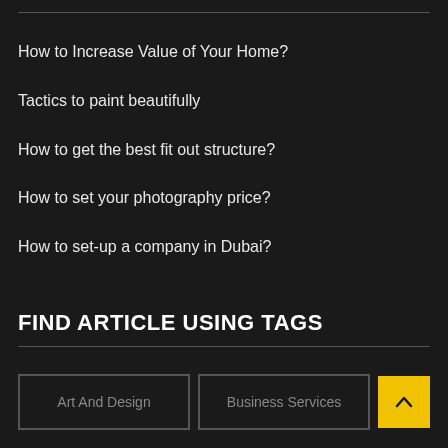How to Increase Value of Your Home?
Tactics to paint beautifully
How to get the best fit out structure?
How to set your photography price?
How to set-up a company in Dubai?
FIND ARTICLE USING TAGS
Art And Design
Business Services